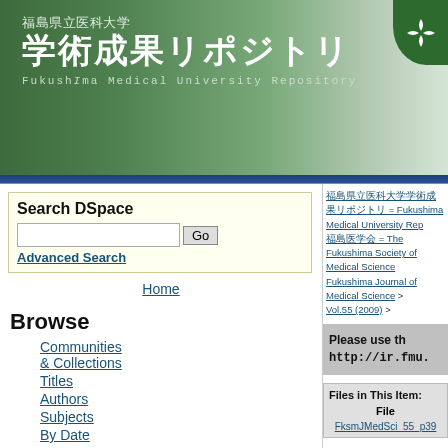福島県立医科大学 学術成果リポジトリ Fukushima Medical University Repository
Search DSpace
Advanced Search
Home
Browse
Communities & Collections
Titles
Authors
Subjects
By Date
Usage Statistics
Help
福島県立医科大学学術成果リポジトリ = Fukushima Medical University Repository > 福島医学会 = The Fukushima Society of Medical Science > Fukushima Journal of Medical Science > Vol.55 (2009) >
Please use this URL to cite or link to this item: http://ir.fmu.
| Files in This Item: | File |
| --- | --- |
| FksmJMedSci_55_p39 |  |
Title: Bilirubin a infarction
Other Titles: Bilirubin a